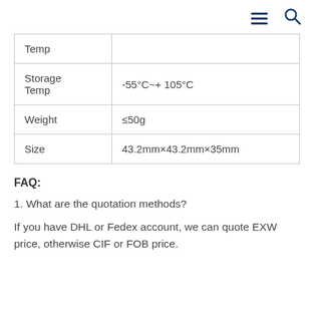≡ 🔍
| Temp |  |
| Storage Temp | -55°C~+ 105°C |
| Weight | ≤50g |
| Size | 43.2mm×43.2mm×35mm |
FAQ:
1. What are the quotation methods?
If you have DHL or Fedex account, we can quote EXW price, otherwise CIF or FOB price.